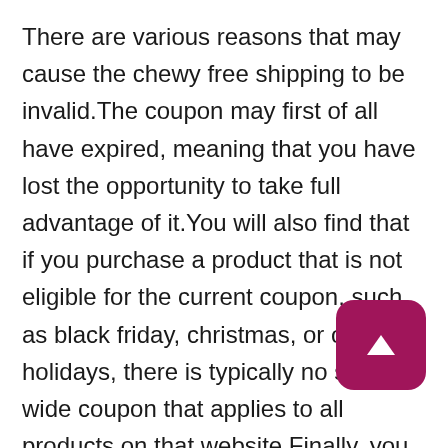There are various reasons that may cause the chewy free shipping to be invalid.The coupon may first of all have expired, meaning that you have lost the opportunity to take full advantage of it.You will also find that if you purchase a product that is not eligible for the current coupon, such as black friday, christmas, or other holidays, there is typically no site-wide coupon that applies to all products on that website.Finally, you should consider that you may be using chewy free shipping for new customers, and you will typically find the words (first order discount) on these coupons.Last but not least, it is important that there may or may not be a minimum purchase amount. Typically, for example, for a